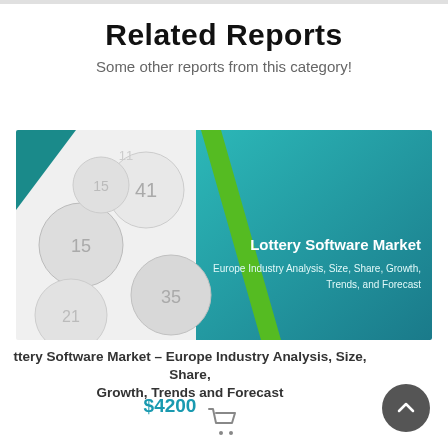Related Reports
Some other reports from this category!
[Figure (illustration): Cover image of a market research report titled 'Lottery Software Market – Europe Industry Analysis, Size, Share, Growth, Trends, and Forecast'. Left half shows white lottery balls with numbers (15, 41, 21, 35, etc.) on a light background with a teal triangular accent. Right half is a teal gradient with a green diagonal stripe and white text reading 'Lottery Software Market' and subtitle 'Europe Industry Analysis, Size, Share, Growth, Trends, and Forecast'.]
Lottery Software Market – Europe Industry Analysis, Size, Share, Growth, Trends and Forecast
$4200